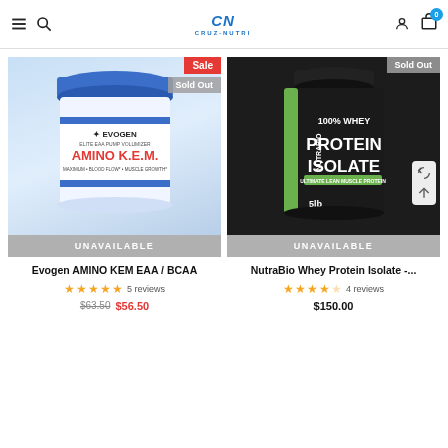Cruz-Nutri navigation header with logo, search, account, cart (0)
[Figure (photo): Evogen AMINO K.E.M. Elite EAA Pump Volumizer supplement tub with blue lid, white label. Badges: Sale (red), Sold Out (gray). UNAVAILABLE bar at bottom.]
[Figure (photo): NutraBio 100% Whey Protein Isolate 5lb black container. Badge: Sold Out (gray). UNAVAILABLE bar at bottom.]
Evogen AMINO KEM EAA / BCAA
5 reviews
$63.50  $56.50
NutraBio Whey Protein Isolate -...
4 reviews
$150.00